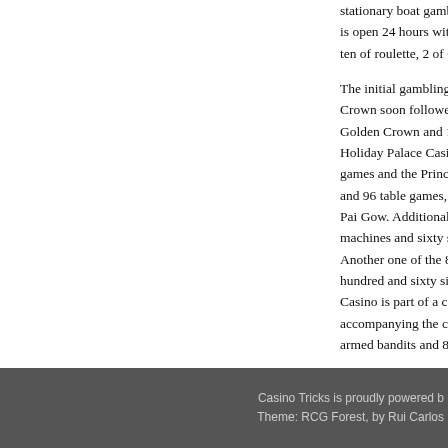stationary boat gambling den, features 150 slots and sixty [cut off] is open 24 hours with forty two tables of mini-baccarat ch[cut off] ten of roulette, 2 of Caribbean Stud Poker, and a single ta[cut off]
The initial gambling den in Poipet, the Holiday Palace, [cut off] Crown soon followed. A total of one hundred and fifty one [cut off] Golden Crown and 104 slot machines and 68 gaming tabl[cut off] Holiday Palace Casino and Resort highlights three hu[cut off] games and the Princess Hotel and Casino, also in Poipet,[cut off] and 96 table games, including 87 baccarat banque (the[cut off] Pai Gow. Additionally, there is the Casino Tropicana, wi[cut off] machines and sixty six of the familiar table games, as we[cut off] Another one of the 8 casinos in Poipet, also in a hote[cut off] hundred and sixty six one armed bandits and ninety se[cut off] Casino is part of a comprehensive vacation and hotel co[cut off] accompanying the casino, which contains 10,000 square[cut off] armed bandits and 88 table games.
Posted by Lilly, in Casino
Leave a Reply
You must be logged in to post a comment.
Casino Tricks is proudly powered b[cut off] Theme: RCG Forest, by Rui Carlos[cut off]